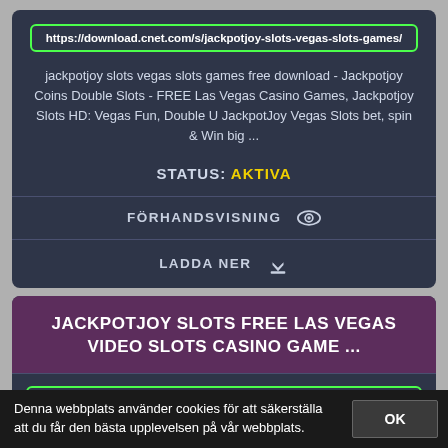https://download.cnet.com/s/jackpotjoy-slots-vegas-slots-games/
jackpotjoy slots vegas slots games free download - Jackpotjoy Coins Double Slots - FREE Las Vegas Casino Games, Jackpotjoy Slots HD: Vegas Fun, Double U JackpotJoy Vegas Slots bet, spin & Win big ...
STATUS: AKTIVA
FÖRHANDSVISNING
LADDA NER
JACKPOTJOY SLOTS FREE LAS VEGAS VIDEO SLOTS CASINO GAME ...
https://download.cnet.com/s/jackpotjoy-slots-free-las-vegas-video-slots-c
jackpotjoy slots free las vegas video slots casino game free download -
Denna webbplats använder cookies för att säkerställa att du får den bästa upplevelsen på vår webbplats.